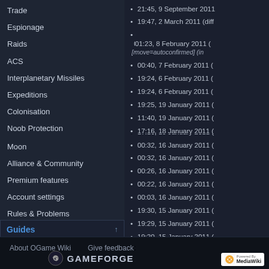Trade
Espionage
Raids
ACS
Interplanetary Missiles
Expeditions
Colonisation
Noob Protection
Moon
Alliance & Community
Premium features
Account settings
Rules & Problems
Fan projects
21:45, 9 September 2011
19:47, 2 March 2011 (diff
01:23, 8 February 2011 (
[move=autoconfirmed] (in
00:40, 7 February 2011 (
19:24, 6 February 2011 (
19:24, 6 February 2011 (
19:25, 19 January 2011 (
11:40, 19 January 2011 (
17:16, 18 January 2011 (
00:32, 16 January 2011 (
00:32, 16 January 2011 (
00:26, 16 January 2011 (
00:22, 16 January 2011 (
00:03, 16 January 2011 (
19:30, 15 January 2011 (
19:29, 15 January 2011 (
19:20, 15 January 2011 (
19:20, 15 January 2011 (
Guides
Universe guide
About OGame Wiki
Give feedback
[Figure (logo): Gameforge logo with G icon and GAMEFORGE text]
[Figure (logo): Powered by MediaWiki badge]